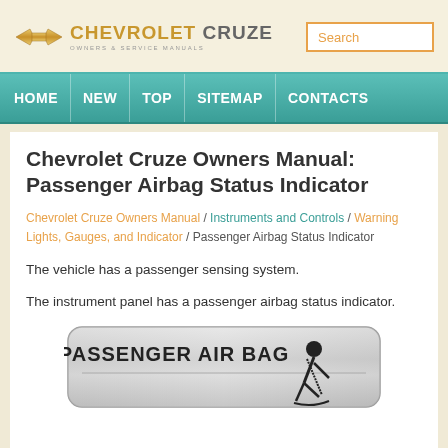CHEVROLET CRUZE - Owners & Service Manuals
Chevrolet Cruze Owners Manual: Passenger Airbag Status Indicator
Chevrolet Cruze Owners Manual / Instruments and Controls / Warning Lights, Gauges, and Indicator / Passenger Airbag Status Indicator
The vehicle has a passenger sensing system.
The instrument panel has a passenger airbag status indicator.
[Figure (photo): Passenger Air Bag status indicator panel showing the label 'PASSENGER AIR BAG' with a seatbelt icon on a silver/metallic background]